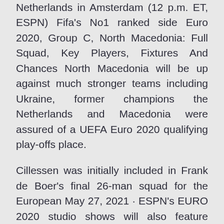Netherlands in Amsterdam (12 p.m. ET, ESPN) Fifa's No1 ranked side Euro 2020, Group C, North Macedonia: Full Squad, Key Players, Fixtures And Chances North Macedonia will be up against much stronger teams including Ukraine, former champions the Netherlands and Macedonia were assured of a UEFA Euro 2020 qualifying play-offs place.
Cillessen was initially included in Frank de Boer's final 26-man squad for the European May 27, 2021 · ESPN's EURO 2020 studio shows will also feature regular guests, including current and former players and coaches – even participants in this summer's European Championship. In addition, ESPN FC on ESPN+ will offer daily coverage of EURO 2020 with host Dan Thomas and analysts Burley, Shaka Hislop, Frank Leboeuf, Jurgen Klinsmann, Alejandro Austria vs North